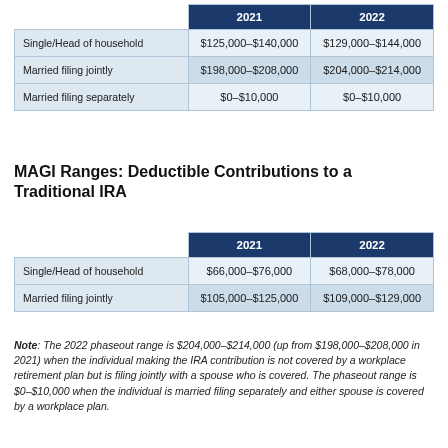|  | 2021 | 2022 |
| --- | --- | --- |
| Single/Head of household | $125,000–$140,000 | $129,000–$144,000 |
| Married filing jointly | $198,000–$208,000 | $204,000–$214,000 |
| Married filing separately | $0–$10,000 | $0–$10,000 |
MAGI Ranges: Deductible Contributions to a Traditional IRA
|  | 2021 | 2022 |
| --- | --- | --- |
| Single/Head of household | $66,000–$76,000 | $68,000–$78,000 |
| Married filing jointly | $105,000–$125,000 | $109,000–$129,000 |
Note: The 2022 phaseout range is $204,000–$214,000 (up from $198,000–$208,000 in 2021) when the individual making the IRA contribution is not covered by a workplace retirement plan but is filing jointly with a spouse who is covered. The phaseout range is $0–$10,000 when the individual is married filing separately and either spouse is covered by a workplace plan.